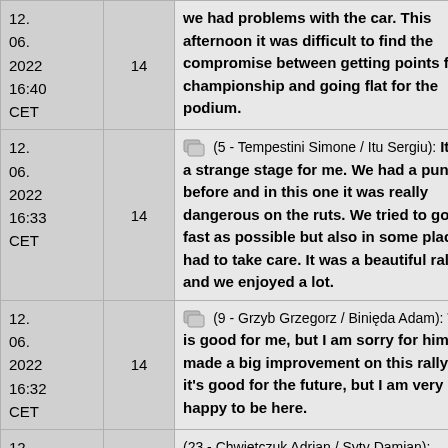| Date | Num | Comment |
| --- | --- | --- |
| 12.06.2022 16:40 CET | 14 | we had problems with the car. This afternoon it was difficult to find the compromise between getting points for the championship and going flat for the podium. |
| 12.06.2022 16:33 CET | 14 | (5 - Tempestini Simone / Itu Sergiu): It was a strange stage for me. We had a puncture before and in this one it was really dangerous on the ruts. We tried to go as fast as possible but also in some places I had to take care. It was a beautiful rally and we enjoyed a lot. |
| 12.06.2022 16:32 CET | 14 | (9 - Grzyb Grzegorz / Binięda Adam): That's is good for me, but I am sorry for him! We made a big improvement on this rally and it's good for the future, but I am very happy to be here. |
| 12.06.2022 16:29 CET | 14 | (23 - Chwietczuk Adrian / Syty Damian): puncture |